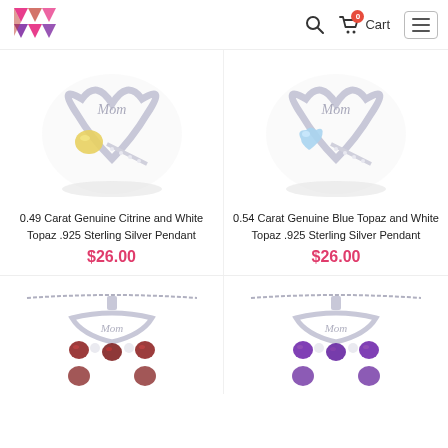Logo | Search | 0 Cart | Menu
[Figure (photo): Mom heart pendant with yellow citrine gemstone in sterling silver]
[Figure (photo): Mom heart pendant with blue topaz gemstone in sterling silver]
0.49 Carat Genuine Citrine and White Topaz .925 Sterling Silver Pendant
$26.00
0.54 Carat Genuine Blue Topaz and White Topaz .925 Sterling Silver Pendant
$26.00
[Figure (photo): Sterling silver Mom necklace with dark red garnet heart stones on chain]
[Figure (photo): Sterling silver Mom necklace with purple amethyst heart stones on chain]